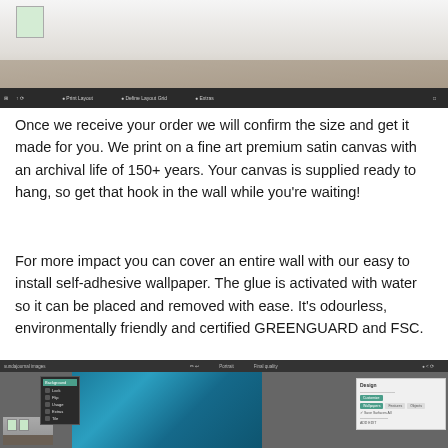[Figure (screenshot): Screenshot of a room visualizer tool showing a 3D room with wooden floor and a toolbar at the bottom with layout options]
Once we receive your order we will confirm the size and get it made for you. We print on a fine art premium satin canvas with an archival life of 150+ years. Your canvas is supplied ready to hang, so get that hook in the wall while you're waiting!
For more impact you can cover an entire wall with our easy to install self-adhesive wallpaper. The glue is activated with water so it can be placed and removed with ease. It's odourless, environmentally friendly and certified GREENGUARD and FSC.
[Figure (screenshot): Screenshot of a wallpaper design tool showing an ocean image with a dropdown menu and design panel on the right]